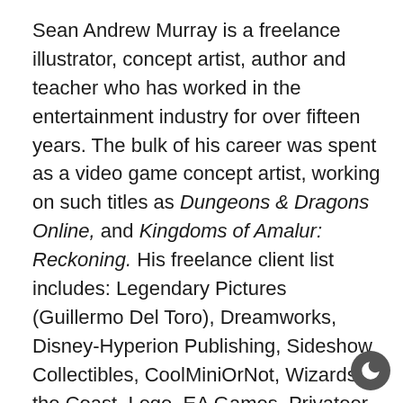Sean Andrew Murray is a freelance illustrator, concept artist, author and teacher who has worked in the entertainment industry for over fifteen years. The bulk of his career was spent as a video game concept artist, working on such titles as Dungeons & Dragons Online, and Kingdoms of Amalur: Reckoning. His freelance client list includes: Legendary Pictures (Guillermo Del Toro), Dreamworks, Disney-Hyperion Publishing, Sideshow Collectibles, CoolMiniOrNot, Wizards of the Coast, Lego, EA Games, Privateer Press, Fantasy Flight Games, White Wolf Games, ImagineFX magazine and 3DTotal.

Sean has won numerous awards for